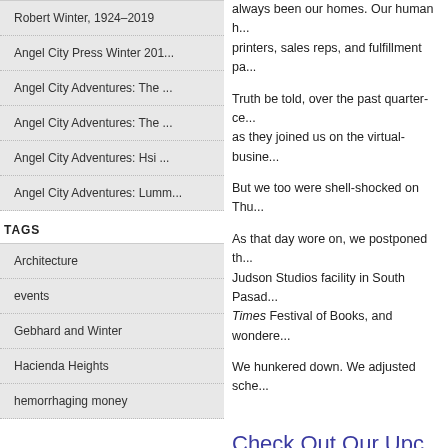Robert Winter, 1924–2019
Angel City Press Winter 201...
Angel City Adventures: The ...
Angel City Adventures: The ...
Angel City Adventures: Hsi ...
Angel City Adventures: Lumm...
TAGS
Architecture
events
Gebhard and Winter
Hacienda Heights
hemorrhaging money
always been our homes. Our human p... printers, sales reps, and fulfillment pa...
Truth be told, over the past quarter-ce... as they joined us on the virtual-busine...
But we too were shell-shocked on Thu...
As that day wore on, we postponed th... Judson Studios facility in South Pasad... Times Festival of Books, and wondere...
We hunkered down. We adjusted sche...
Check Out Our Upc...
Becoming Los Angeles: Myth, Mem...
By D.J. Waldie (available August 15)
"Waldie ... is one of the writers respo...